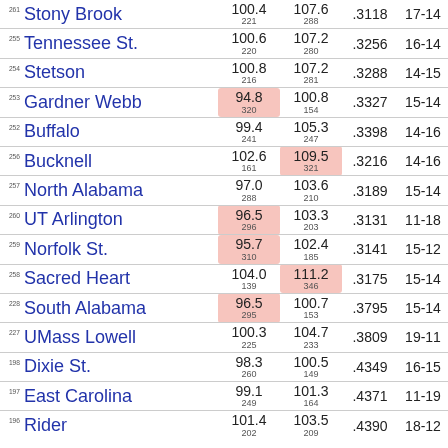| Rank | Team | Off Eff | Def Eff | Pct | Record |
| --- | --- | --- | --- | --- | --- |
| 261 | Stony Brook | 100.4
221 | 107.6
288 | .3118 | 17-14 |
| 255 | Tennessee St. | 100.6
220 | 107.2
280 | .3256 | 16-14 |
| 254 | Stetson | 100.8
216 | 107.2
281 | .3288 | 14-15 |
| 253 | Gardner Webb | 94.8
320 | 100.8
154 | .3327 | 15-14 |
| 252 | Buffalo | 99.4
241 | 105.3
247 | .3398 | 14-16 |
| 256 | Bucknell | 102.6
161 | 109.5
321 | .3216 | 14-16 |
| 257 | North Alabama | 97.0
288 | 103.6
210 | .3189 | 15-14 |
| 260 | UT Arlington | 96.5
296 | 103.3
203 | .3131 | 11-18 |
| 259 | Norfolk St. | 95.7
310 | 102.4
185 | .3141 | 15-12 |
| 258 | Sacred Heart | 104.0
139 | 111.2
346 | .3175 | 15-14 |
| 228 | South Alabama | 96.5
295 | 100.7
153 | .3795 | 15-14 |
| 227 | UMass Lowell | 100.3
225 | 104.7
233 | .3809 | 19-11 |
| 198 | Dixie St. | 98.3
260 | 100.5
149 | .4349 | 16-15 |
| 197 | East Carolina | 99.1
249 | 101.3
164 | .4371 | 11-19 |
| 196 | Rider | 101.4
202 | 103.5
209 | .4390 | 18-12 |